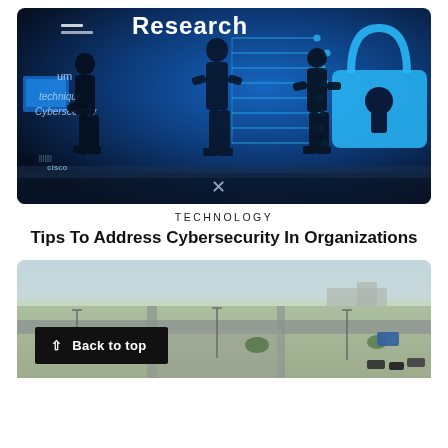[Figure (photo): Cybersecurity themed image showing silhouetted figures walking past a large glowing blue digital padlock with circuit board pattern connections. Text overlays include 'Research', 'technique', 'Cybersecurity', 'cisco'.]
TECHNOLOGY
Tips To Address Cybersecurity In Organizations
[Figure (photo): Aerial photograph of a flat landscape with roads, parking lots, light poles, trees, and distant buildings. A 'Back to top' button is overlaid in the lower-left corner.]